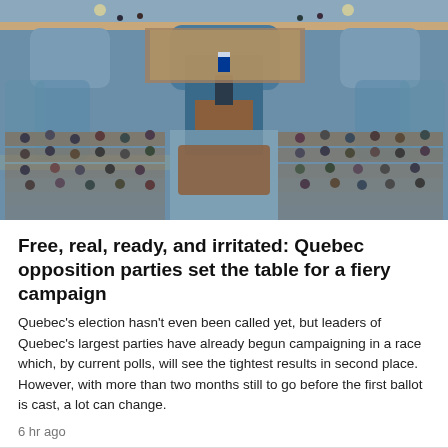[Figure (photo): Interior of the Quebec National Assembly chamber filled with elected members seated at wooden desks on both sides, with an ornate blue and gold decorated hall, large painting on the rear wall, and a speaker presiding at the front centre.]
Free, real, ready, and irritated: Quebec opposition parties set the table for a fiery campaign
Quebec's election hasn't even been called yet, but leaders of Quebec's largest parties have already begun campaigning in a race which, by current polls, will see the tightest results in second place. However, with more than two months still to go before the first ballot is cast, a lot can change.
6 hr ago